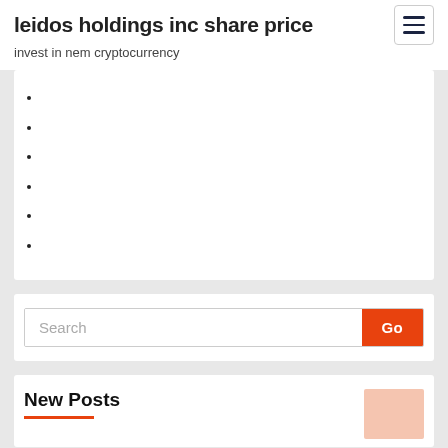leidos holdings inc share price
invest in nem cryptocurrency
Search
New Posts